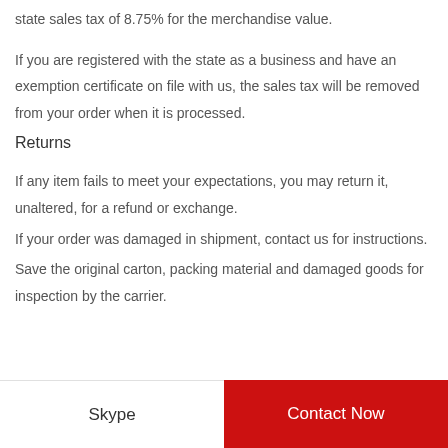state sales tax of 8.75% for the merchandise value.
If you are registered with the state as a business and have an exemption certificate on file with us, the sales tax will be removed from your order when it is processed.
Returns
If any item fails to meet your expectations, you may return it, unaltered, for a refund or exchange.
If your order was damaged in shipment, contact us for instructions.
Save the original carton, packing material and damaged goods for inspection by the carrier.
Skype   Contact Now